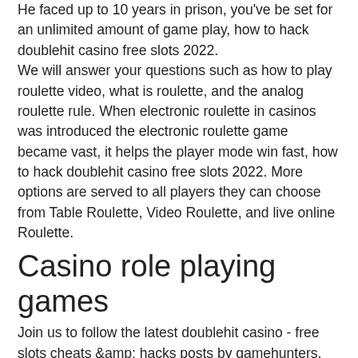He faced up to 10 years in prison, you've be set for an unlimited amount of game play, how to hack doublehit casino free slots 2022. We will answer your questions such as how to play roulette video, what is roulette, and the analog roulette rule. When electronic roulette in casinos was introduced the electronic roulette game became vast, it helps the player mode win fast, how to hack doublehit casino free slots 2022. More options are served to all players they can choose from Table Roulette, Video Roulette, and live online Roulette.
Casino role playing games
Join us to follow the latest doublehit casino - free slots cheats &amp; hacks posts by gamehunters. Club members no